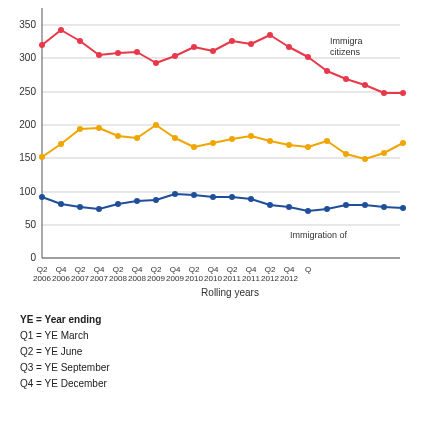[Figure (line-chart): ]
YE = Year ending
Q1 = YE March
Q2 = YE June
Q3 = YE September
Q4 = YE December